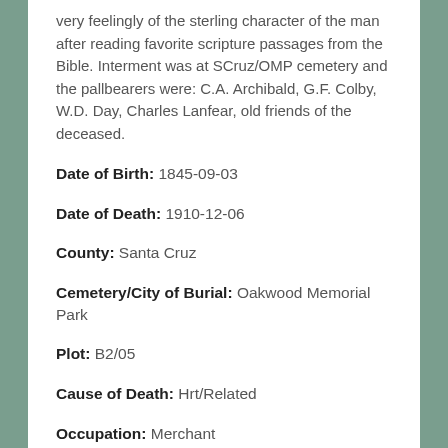very feelingly of the sterling character of the man after reading favorite scripture passages from the Bible. Interment was at SCruz/OMP cemetery and the pallbearers were: C.A. Archibald, G.F. Colby, W.D. Day, Charles Lanfear, old friends of the deceased.
Date of Birth: 1845-09-03
Date of Death: 1910-12-06
County: Santa Cruz
Cemetery/City of Burial: Oakwood Memorial Park
Plot: B2/05
Cause of Death: Hrt/Related
Occupation: Merchant